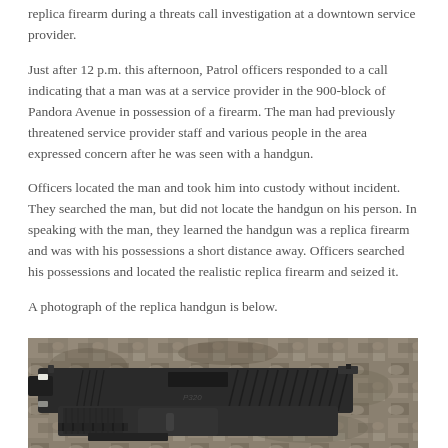replica firearm during a threats call investigation at a downtown service provider.
Just after 12 p.m. this afternoon, Patrol officers responded to a call indicating that a man was at a service provider in the 900-block of Pandora Avenue in possession of a firearm. The man had previously threatened service provider staff and various people in the area expressed concern after he was seen with a handgun.
Officers located the man and took him into custody without incident. They searched the man, but did not locate the handgun on his person. In speaking with the man, they learned the handgun was a replica firearm and was with his possessions a short distance away. Officers searched his possessions and located the realistic replica firearm and seized it.
A photograph of the replica handgun is below.
[Figure (photo): Close-up photograph of a realistic replica handgun (pistol) against a rocky/stone surface background. The gun is dark/black colored with ridged grip, viewed from above at slight angle showing the slide and barrel.]